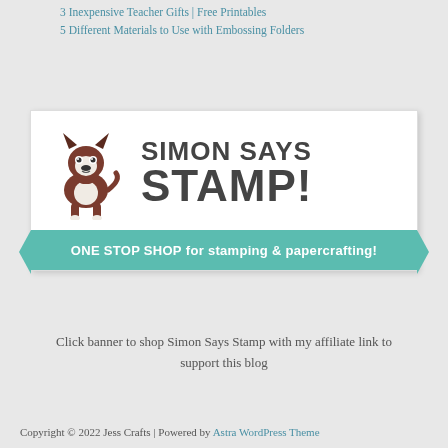3 Inexpensive Teacher Gifts | Free Printables
5 Different Materials to Use with Embossing Folders
[Figure (logo): Simon Says Stamp logo banner with Boston Terrier dog illustration, brand name 'Simon Says Stamp!' in bold dark text, and a teal ribbon banner reading 'ONE STOP SHOP for stamping & papercrafting!']
Click banner to shop Simon Says Stamp with my affiliate link to support this blog
Copyright © 2022 Jess Crafts | Powered by Astra WordPress Theme